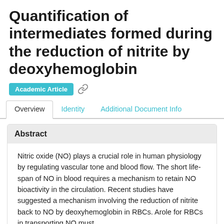Quantification of intermediates formed during the reduction of nitrite by deoxyhemoglobin
Academic Article
Overview | Identity | Additional Document Info
Abstract
Nitric oxide (NO) plays a crucial role in human physiology by regulating vascular tone and blood flow. The short life-span of NO in blood requires a mechanism to retain NO bioactivity in the circulation. Recent studies have suggested a mechanism involving the reduction of nitrite back to NO by deoxyhemoglobin in RBCs. Arole for RBCs in transporting NO must, however, be...